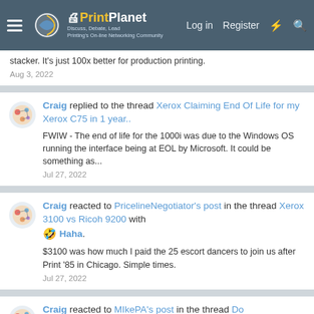PrintPlanet — Discuss, Debate, Lead. Printing's On-line Networking Community. Log in | Register
stacker. It's just 100x better for production printing.
Aug 3, 2022
Craig replied to the thread Xerox Claiming End Of Life for my Xerox C75 in 1 year..
FWIW - The end of life for the 1000i was due to the Windows OS running the interface being at EOL by Microsoft. It could be something as...
Jul 27, 2022
Craig reacted to PricelineNegotiator's post in the thread Xerox 3100 vs Ricoh 9200 with 🤣 Haha.
$3100 was how much I paid the 25 escort dancers to join us after Print '85 in Chicago. Simple times.
Jul 27, 2022
Craig reacted to MIkePA's post in the thread Do